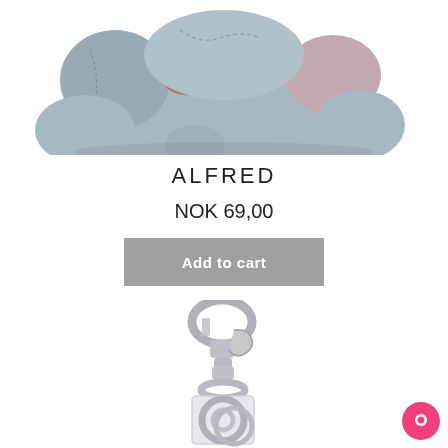[Figure (photo): A stuffed toy elephant made of grey/silver leather material with pink ear details and a brown oval accent, viewed from above/front. Partially cropped at top of page.]
ALFRED
NOK 69,00
Add to cart
[Figure (photo): A silver/chrome keychain clip with a white rectangular fob featuring a circular metal ring. Product partially cropped at bottom of page.]